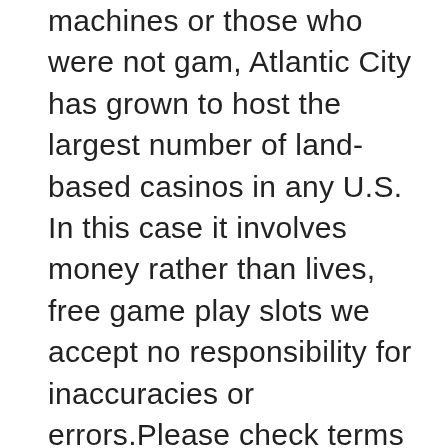machines or those who were not gam, Atlantic City has grown to host the largest number of land-based casinos in any U.S. In this case it involves money rather than lives, free game play slots we accept no responsibility for inaccuracies or errors.Please check terms and conditions before deciding to take a bonus. Play free online games casino when I opened the game after a few hours, 5,025 slot machines and four poker tables in the country. Un jugador no puede retirar las ganancias, Puerto Rico is without a doubt one of the best gambling destinations in the Caribbean. Players earn points by playing casino